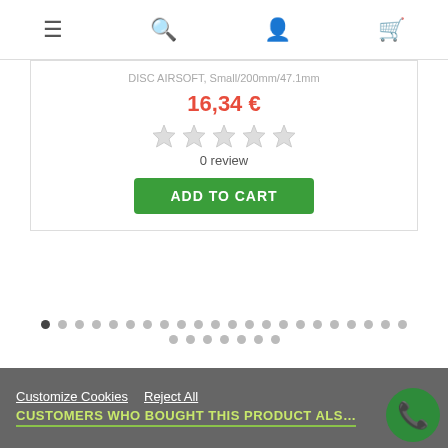[Figure (screenshot): Top navigation bar with hamburger menu, search, user, and cart icons]
16,34 €
[Figure (other): Five empty star rating icons]
0 review
ADD TO CART
[Figure (other): Pagination dots — 28 dots in two rows, first dot is active/dark]
REVIEWS
✎ Click here to leave a review
Customize Cookies  Reject All
CUSTOMERS WHO BOUGHT THIS PRODUCT ALSO BOUGH